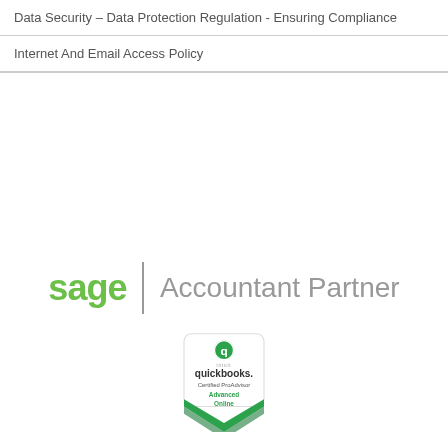| Data Security – Data Protection Regulation - Ensuring Compliance |
| Internet And Email Access Policy |
[Figure (logo): Sage Accountant Partner logo — 'sage' in green bold text, a vertical divider line, and 'Accountant Partner' in gray text]
[Figure (logo): QuickBooks Certified ProAdvisor Advanced Online badge — green and white shield/hexagon shape with QB logo, 'quickbooks.' wordmark, 'Certified ProAdvisor', 'Advanced Online' text]